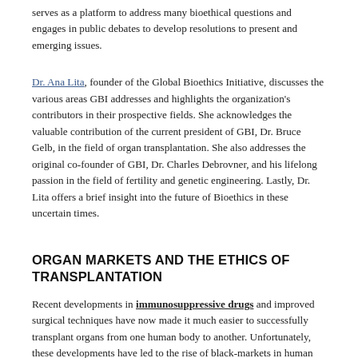serves as a platform to address many bioethical questions and engages in public debates to develop resolutions to present and emerging issues.
Dr. Ana Lita, founder of the Global Bioethics Initiative, discusses the various areas GBI addresses and highlights the organization's contributors in their prospective fields. She acknowledges the valuable contribution of the current president of GBI, Dr. Bruce Gelb, in the field of organ transplantation. She also addresses the original co-founder of GBI, Dr. Charles Debrovner, and his lifelong passion in the field of fertility and genetic engineering. Lastly, Dr. Lita offers a brief insight into the future of Bioethics in these uncertain times.
ORGAN MARKETS AND THE ETHICS OF TRANSPLANTATION
Recent developments in immunosuppressive drugs and improved surgical techniques have now made it much easier to successfully transplant organs from one human body to another. Unfortunately, these developments have led to the rise of black-markets in human organs. This underground market is where people who need kidneys to survive or to improve the quality of